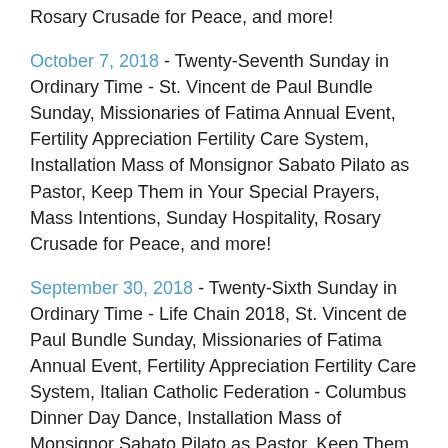Rosary Crusade for Peace, and more!
October 7, 2018 - Twenty-Seventh Sunday in Ordinary Time - St. Vincent de Paul Bundle Sunday, Missionaries of Fatima Annual Event, Fertility Appreciation Fertility Care System, Installation Mass of Monsignor Sabato Pilato as Pastor, Keep Them in Your Special Prayers, Mass Intentions, Sunday Hospitality, Rosary Crusade for Peace, and more!
September 30, 2018 - Twenty-Sixth Sunday in Ordinary Time - Life Chain 2018, St. Vincent de Paul Bundle Sunday, Missionaries of Fatima Annual Event, Fertility Appreciation Fertility Care System, Italian Catholic Federation - Columbus Dinner Day Dance, Installation Mass of Monsignor Sabato Pilato as Pastor, Keep Them in Your Special Prayers, Mass Intentions, Sunday Hospitality, Rosary Crusade for Peace, and more!